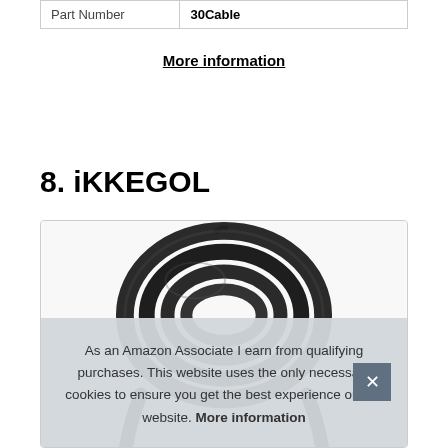| Part Number | 30Cable |
More information
8. iKKEGOL
[Figure (photo): Coiled black cable product photo inside a rounded-border box]
As an Amazon Associate I earn from qualifying purchases. This website uses the only necessary cookies to ensure you get the best experience on our website. More information